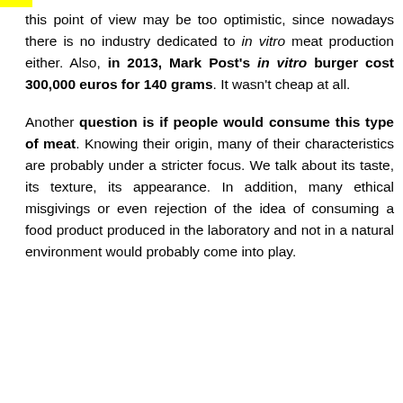this point of view may be too optimistic, since nowadays there is no industry dedicated to in vitro meat production either. Also, in 2013, Mark Post's in vitro burger cost 300,000 euros for 140 grams. It wasn't cheap at all.

Another question is if people would consume this type of meat. Knowing their origin, many of their characteristics are probably under a stricter focus. We talk about its taste, its texture, its appearance. In addition, many ethical misgivings or even rejection of the idea of consuming a food product produced in the laboratory and not in a natural environment would probably come into play.